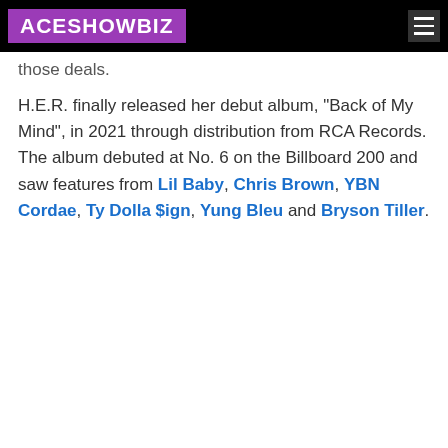ACESHOWBIZ
those deals.
H.E.R. finally released her debut album, "Back of My Mind", in 2021 through distribution from RCA Records. The album debuted at No. 6 on the Billboard 200 and saw features from Lil Baby, Chris Brown, YBN Cordae, Ty Dolla $ign, Yung Bleu and Bryson Tiller.